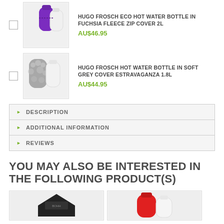HUGO FROSCH ECO HOT WATER BOTTLE IN FUCHSIA FLEECE ZIP COVER 2L — AU$46.95
HUGO FROSCH HOT WATER BOTTLE IN SOFT GREY COVER ESTRAVAGANZA 1.8L — AU$44.95
DESCRIPTION
ADDITIONAL INFORMATION
REVIEWS
YOU MAY ALSO BE INTERESTED IN THE FOLLOWING PRODUCT(S)
[Figure (photo): Two product thumbnail images at bottom of page showing hot water bottles]
[Figure (photo): Hot water bottle product image - red felt cover with white bottle]